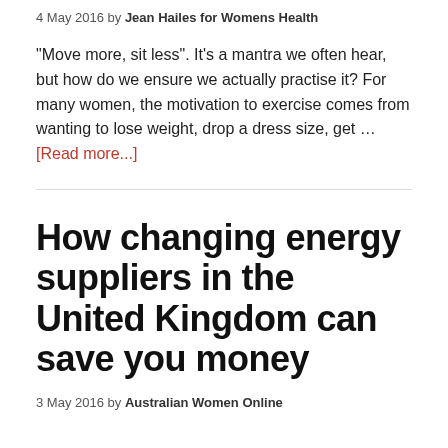4 May 2016 by Jean Hailes for Womens Health
"Move more, sit less". It's a mantra we often hear, but how do we ensure we actually practise it? For many women, the motivation to exercise comes from wanting to lose weight, drop a dress size, get … [Read more...]
How changing energy suppliers in the United Kingdom can save you money
3 May 2016 by Australian Women Online